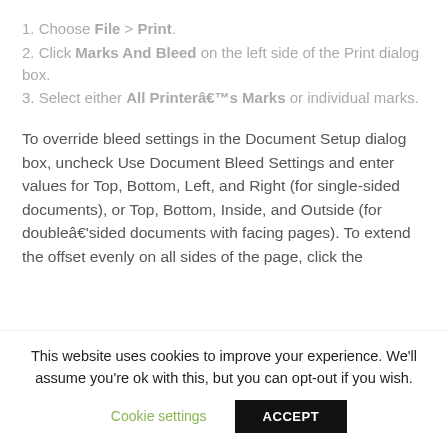1. Choose File > Print.
2. Click Marks And Bleed on the left side of the Print dialog box.
3. Select either All Printerâ€™s Marks or individual marks.
To override bleed settings in the Document Setup dialog box, uncheck Use Document Bleed Settings and enter values for Top, Bottom, Left, and Right (for single-sided documents), or Top, Bottom, Inside, and Outside (for doubleâ€'sided documents with facing pages). To extend the offset evenly on all sides of the page, click the
This website uses cookies to improve your experience. We'll assume you're ok with this, but you can opt-out if you wish.
Cookie settings | ACCEPT